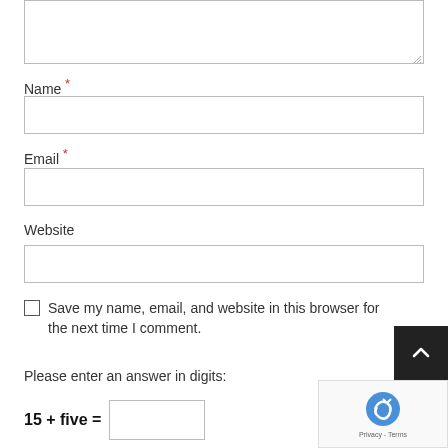[Figure (screenshot): Partial textarea input box at the top of the page, with resize handle at bottom-right corner]
Name *
[Figure (screenshot): Name text input field (empty)]
Email *
[Figure (screenshot): Email text input field (empty)]
Website
[Figure (screenshot): Website text input field (empty)]
Save my name, email, and website in this browser for the next time I comment.
Please enter an answer in digits:
15 + five =
[Figure (screenshot): reCAPTCHA widget bottom-right with Google logo and Privacy-Terms text]
[Figure (screenshot): Scroll-to-top button (dark background with upward chevron)]